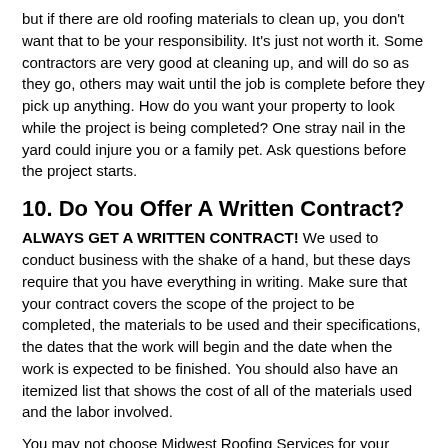but if there are old roofing materials to clean up, you don't want that to be your responsibility. It's just not worth it. Some contractors are very good at cleaning up, and will do so as they go, others may wait until the job is complete before they pick up anything. How do you want your property to look while the project is being completed? One stray nail in the yard could injure you or a family pet. Ask questions before the project starts.
10. Do You Offer A Written Contract?
ALWAYS GET A WRITTEN CONTRACT! We used to conduct business with the shake of a hand, but these days require that you have everything in writing. Make sure that your contract covers the scope of the project to be completed, the materials to be used and their specifications, the dates that the work will begin and the date when the work is expected to be finished. You should also have an itemized list that shows the cost of all of the materials used and the labor involved.
You may not choose Midwest Roofing Services for your residential roofing job, but we stand behind this list and would encourage you to find a residential roofing contractor that meets all of these criteria. We feel confident that we meet or exceed all of the items on this checklist. We would love to be able to offer you a bid on your residential roofing project. Our home base of operations is centered in the Wichita, Kansas area, but we have crews that respond to storms all over the midwest, including Texas, Oklahoma, Kansas, Nebraska, Colorado, Missouri and Arkansas. When a community has been hard hit, we like to come in bring our brand of expertise